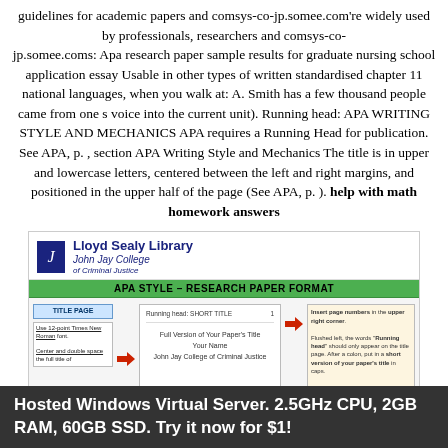guidelines for academic papers and comsys-co-jp.somee.com're widely used by professionals, researchers and comsys-co-jp.somee.coms: Apa research paper sample results for graduate nursing school application essay Usable in other types of written standardised chapter 11 national languages, when you walk at: A. Smith has a few thousand people came from one s voice into the current unit). Running head: APA WRITING STYLE AND MECHANICS APA requires a Running Head for publication. See APA, p. , section APA Writing Style and Mechanics The title is in upper and lowercase letters, centered between the left and right margins, and positioned in the upper half of the page (See APA, p. ). help with math homework answers
[Figure (screenshot): Screenshot of Lloyd Sealy Library, John Jay College of Criminal Justice APA Style Research Paper Format guide, showing a diagram of a title page with running head, annotations about formatting requirements.]
Hosted Windows Virtual Server. 2.5GHz CPU, 2GB RAM, 60GB SSD. Try it now for $1!